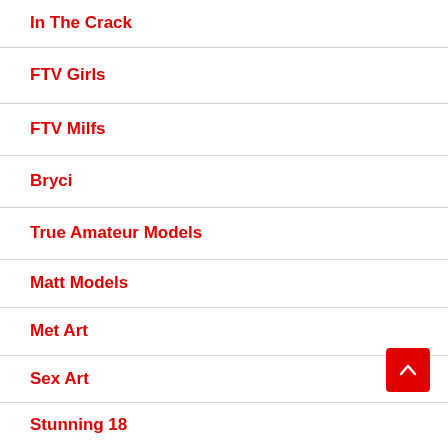In The Crack
FTV Girls
FTV Milfs
Bryci
True Amateur Models
Matt Models
Met Art
Sex Art
Stunning 18